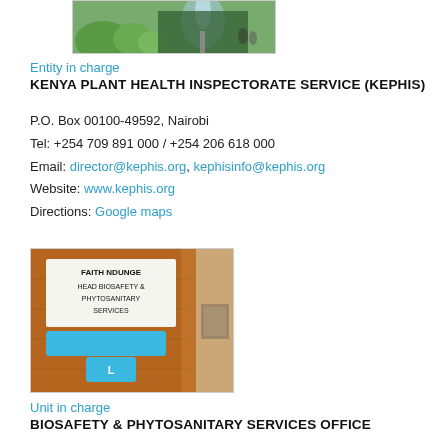[Figure (photo): Photo of a building exterior with a fountain and green plants]
Entity in charge
KENYA PLANT HEALTH INSPECTORATE SERVICE (KEPHIS)
P.O. Box 00100-49592, Nairobi
Tel: +254 709 891 000 / +254 206 618 000
Email: director@kephis.org, kephisinfo@kephis.org
Website: www.kephis.org
Directions: Google maps
[Figure (photo): Photo of an office door nameplate reading FAITH NDUNGE, HEAD BIOSAFETY & PHYTOSANITARY SERVICES, with a blue tag]
Unit in charge
BIOSAFETY & PHYTOSANITARY SERVICES OFFICE
Mon:    08:00 - 13:00, 14:00 - 17:00
Tue:    08:00 - 13:00, 14:00 - 17:00
Wed:    08:00 - 13:00, 14:00 - 17:00